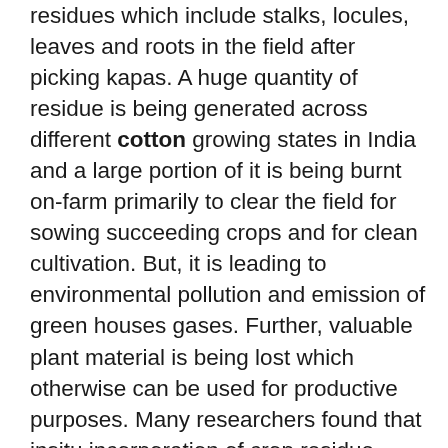residues which include stalks, locules, leaves and roots in the field after picking kapas. A huge quantity of residue is being generated across different cotton growing states in India and a large portion of it is being burnt on-farm primarily to clear the field for sowing succeeding crops and for clean cultivation. But, it is leading to environmental pollution and emission of green houses gases. Further, valuable plant material is being lost which otherwise can be used for productive purposes. Many researchers found that insitu incorporation of crop residue would enrich soil fertility, enhances crop productivity and conserves the environment. This paper discussed various machinery with main emphasis on multi crop shredder and also different options for managing the cotton